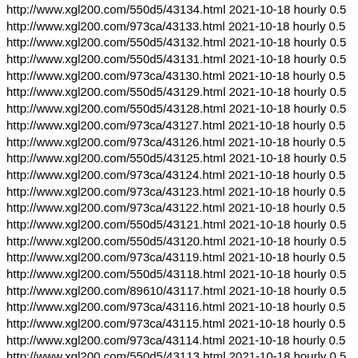http://www.xgl200.com/550d5/43134.html 2021-10-18 hourly 0.5
http://www.xgl200.com/973ca/43133.html 2021-10-18 hourly 0.5
http://www.xgl200.com/550d5/43132.html 2021-10-18 hourly 0.5
http://www.xgl200.com/550d5/43131.html 2021-10-18 hourly 0.5
http://www.xgl200.com/973ca/43130.html 2021-10-18 hourly 0.5
http://www.xgl200.com/550d5/43129.html 2021-10-18 hourly 0.5
http://www.xgl200.com/550d5/43128.html 2021-10-18 hourly 0.5
http://www.xgl200.com/973ca/43127.html 2021-10-18 hourly 0.5
http://www.xgl200.com/973ca/43126.html 2021-10-18 hourly 0.5
http://www.xgl200.com/550d5/43125.html 2021-10-18 hourly 0.5
http://www.xgl200.com/973ca/43124.html 2021-10-18 hourly 0.5
http://www.xgl200.com/973ca/43123.html 2021-10-18 hourly 0.5
http://www.xgl200.com/973ca/43122.html 2021-10-18 hourly 0.5
http://www.xgl200.com/550d5/43121.html 2021-10-18 hourly 0.5
http://www.xgl200.com/550d5/43120.html 2021-10-18 hourly 0.5
http://www.xgl200.com/973ca/43119.html 2021-10-18 hourly 0.5
http://www.xgl200.com/550d5/43118.html 2021-10-18 hourly 0.5
http://www.xgl200.com/89610/43117.html 2021-10-18 hourly 0.5
http://www.xgl200.com/973ca/43116.html 2021-10-18 hourly 0.5
http://www.xgl200.com/973ca/43115.html 2021-10-18 hourly 0.5
http://www.xgl200.com/973ca/43114.html 2021-10-18 hourly 0.5
http://www.xgl200.com/550d5/43113.html 2021-10-18 hourly 0.5
http://www.xgl200.com/550d5/43112.html 2021-10-18 hourly 0.5
http://www.xgl200.com/550d5/43111.html 2021-10-18 hourly 0.5
http://www.xgl200.com/550d5/43110.html 2021-10-18 hourly 0.5
http://www.xgl200.com/550d5/43109.html 2021-10-18 hourly 0.5